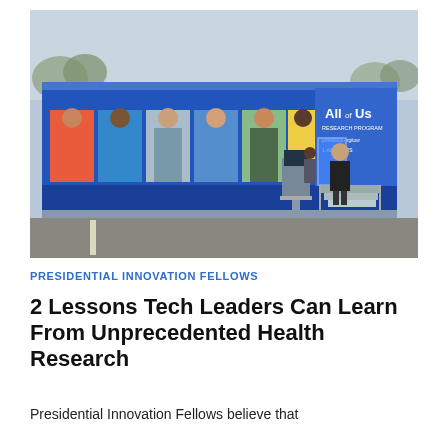[Figure (photo): A blue mobile unit or trailer for the All of Us Research Program, with colorful portraits of diverse people on the side panels, a monitor kiosk, and stairs with a woman standing in front. Trees and overcast sky in background. Parking lot setting.]
PRESIDENTIAL INNOVATION FELLOWS
2 Lessons Tech Leaders Can Learn From Unprecedented Health Research
Presidential Innovation Fellows believe that